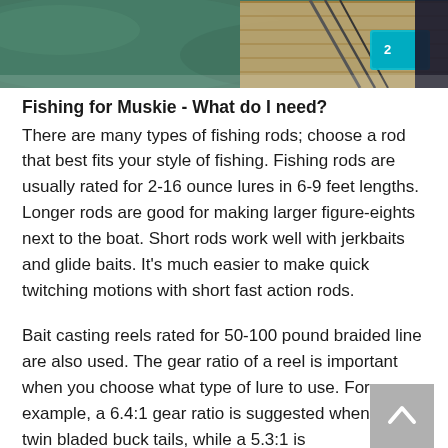[Figure (photo): Partial photo showing a boat on water with fishing rods and gear visible, cropped at top of page]
Fishing for Muskie - What do I need?
There are many types of fishing rods; choose a rod that best fits your style of fishing. Fishing rods are usually rated for 2-16 ounce lures in 6-9 feet lengths. Longer rods are good for making larger figure-eights next to the boat. Short rods work well with jerkbaits and glide baits. It's much easier to make quick twitching motions with short fast action rods.
Bait casting reels rated for 50-100 pound braided line are also used. The gear ratio of a reel is important when you choose what type of lure to use. For example, a 6.4:1 gear ratio is suggested when using twin bladed buck tails, while a 5.3:1 is